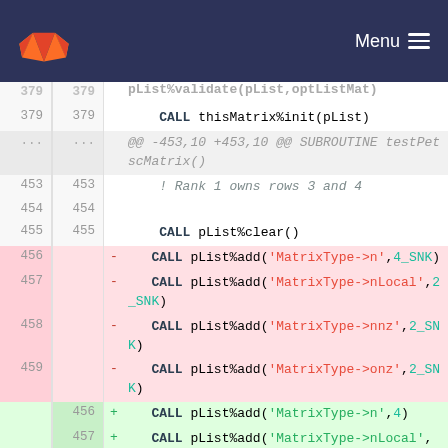GitLab navigation bar with logo and Menu button
[Figure (screenshot): GitLab code diff view showing Fortran source changes around lines 379-459. Removed lines (pink) replace 4_SNK arguments with plain integer 4 or 2 in pList%add calls. Added lines (green) show the new shorter forms without _SNK suffix.]